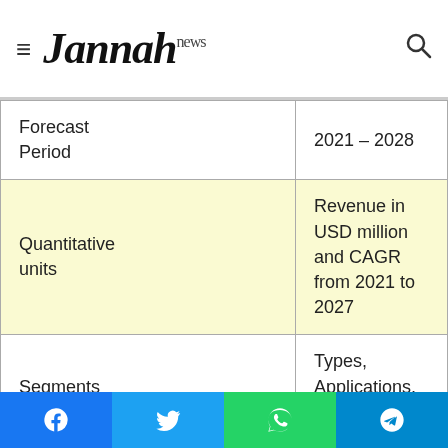Jannah news
| Field | Value |
| --- | --- |
| Forecast Period | 2021 – 2028 |
| Quantitative units | Revenue in USD million and CAGR from 2021 to 2027 |
| Segments Covered | Types, Applications, End-Users, and more. |
| Report Coverage | Revenue Forecast, Company Ranking, Competitive Landscape, Growth Factors, and Trends |